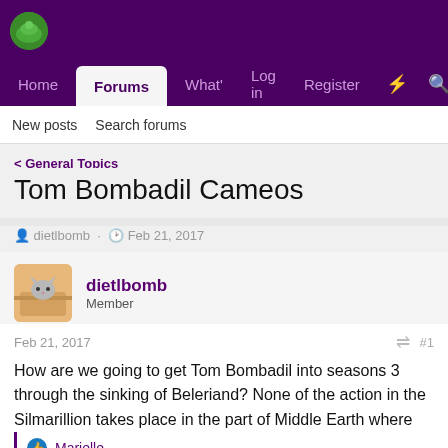Forums navigation: Home, Forums, What's New, Log in, Register
New posts  Search forums
< General Topics
Tom Bombadil Cameos
dietlbomb · Feb 21, 2017
dietlbomb
Member
Feb 21, 2017  #1
How are we going to get Tom Bombadil into seasons 3 through the sinking of Beleriand? None of the action in the Silmarillion takes place in the part of Middle Earth where Tom lives.
Marielle